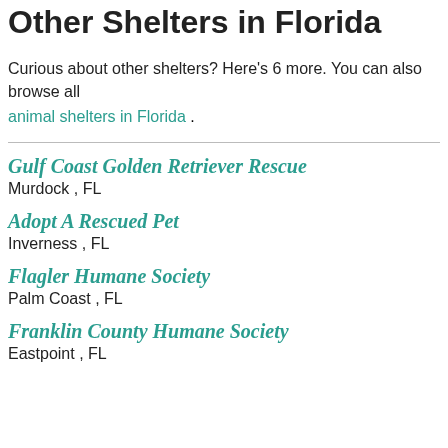Other Shelters in Florida
Curious about other shelters? Here's 6 more. You can also browse all animal shelters in Florida .
Gulf Coast Golden Retriever Rescue
Murdock , FL
Adopt A Rescued Pet
Inverness , FL
Flagler Humane Society
Palm Coast , FL
Franklin County Humane Society
Eastpoint , FL